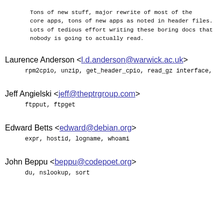Tons of new stuff, major rewrite of most of the core apps, tons of new apps as noted in header files. Lots of tedious effort writing these boring docs that nobody is going to actually read.
Laurence Anderson <l.d.anderson@warwick.ac.uk>
rpm2cpio, unzip, get_header_cpio, read_gz interface,
Jeff Angielski <jeff@theptrgroup.com>
ftpput, ftpget
Edward Betts <edward@debian.org>
expr, hostid, logname, whoami
John Beppu <beppu@codepoet.org>
du, nslookup, sort